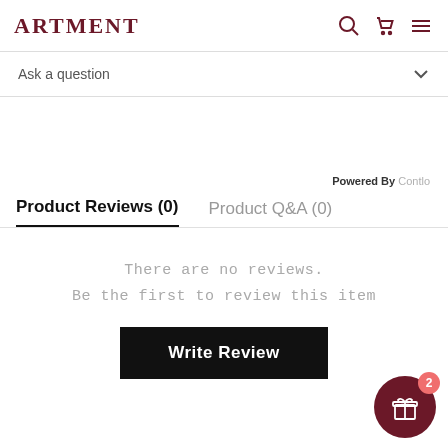ARTMENT
Ask a question
Powered By Contlo
Product Reviews (0)
Product Q&A (0)
There are no reviews.
Be the first to review this item
Write Review